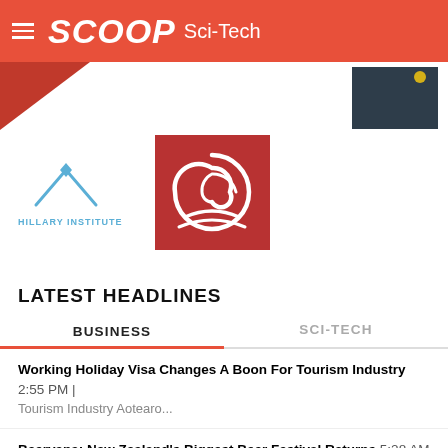SCOOP Sci-Tech
[Figure (logo): Red triangle/arrow shape partially visible at top left]
[Figure (logo): Dark gray/charcoal rectangle at top right]
[Figure (logo): Hillary Institute logo - blue mountain/chevron shape with text HILLARY INSTITUTE]
[Figure (logo): Red square logo with white spiral/snail shell design]
LATEST HEADLINES
BUSINESS | SCI-TECH
Working Holiday Visa Changes A Boon For Tourism Industry 2:55 PM | Tourism Industry Aotearo...
Beervana: New Zealand's Biggest Beer Festival Returns 5:28 AM | Beervana